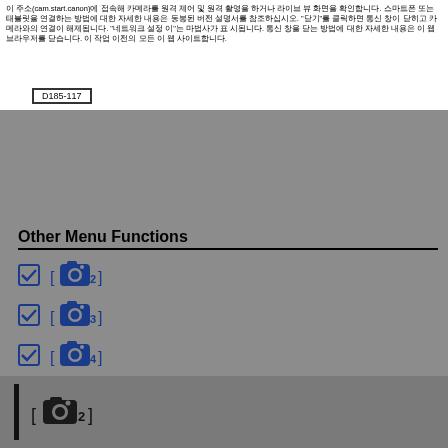이 주소(cam.start.canon)에 접속해 카메라를 원격 제어 및 원격 촬영을 하거나 라이브 뷰 화면을 확인합니다. 스마트폰 또는 태블릿을 연결하는 방법에 대한 자세한 내용은 동봉된 버전 설명서를 참조하십시오. "닫기"를 클릭하면 통신 창이 닫히고 카메라와의 연결이 해제됩니다. "네트워크 설정"은 마법사 표시가 표시됩니다. 통신 창을 닫는 방법에 대한 자세한 내용은 이 웹 브라우저를 닫습니다. 이 작업 이전의 모든 이 웹 사이트합니다.
D185-117
Other Menu Functions
[Camera 2]
[Camera 3]
[Camera 4]
[Camera 5]
[Camera 6]
[Camera 7]
[Camera 2]